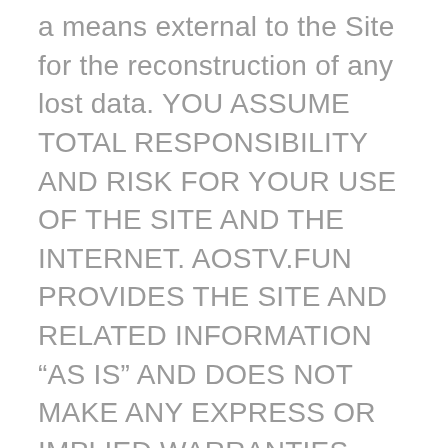a means external to the Site for the reconstruction of any lost data. YOU ASSUME TOTAL RESPONSIBILITY AND RISK FOR YOUR USE OF THE SITE AND THE INTERNET. AOSTV.FUN PROVIDES THE SITE AND RELATED INFORMATION “AS IS” AND DOES NOT MAKE ANY EXPRESS OR IMPLIED WARRANTIES, REPRESENTATIONS OR ENDORSEMENTS WHATSOEVER (INCLUDING WITHOUT LIMITATION WARRANTIES OF TITLE OR NONINFRINGEMENT, OR THE IMPLIED